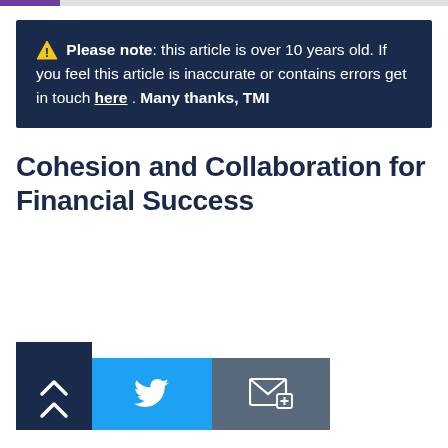⚠ Please note: this article is over 10 years old. If you feel this article is inaccurate or contains errors get in touch here . Many thanks, TMI
Cohesion and Collaboration for Financial Success